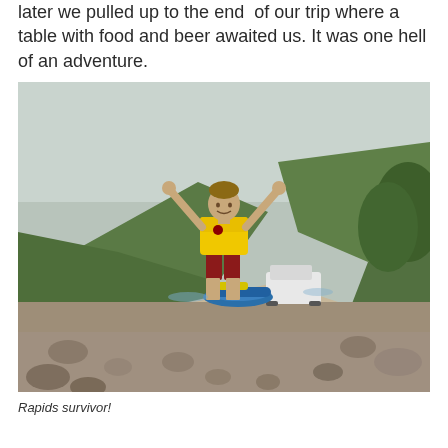later we pulled up to the end of our trip where a table with food and beer awaited us. It was one hell of an adventure.
[Figure (photo): A man in a yellow jersey and red shorts stands on a rocky river bank with arms raised in triumph. Behind him is a blue inflatable raft and a white SUV. Green mountains and trees are visible in the background under an overcast sky.]
Rapids survivor!